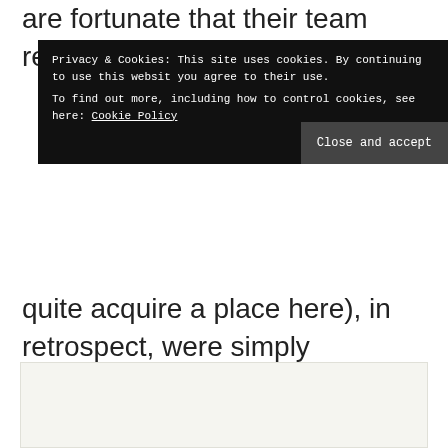are fortunate that their team remains superior and t
[Figure (screenshot): Cookie consent banner with black background. Text reads: 'Privacy & Cookies: This site uses cookies. By continuing to use this website you agree to their use. To find out more, including how to control cookies, see here: Cookie Policy'. A dark gray 'Close and accept' button is shown at the bottom right of the banner.]
quite acquire a place here), in retrospect, were simply in the wrong car at the wrong time, or were often teamed with another fast driver – Reutemann is a good example of both.